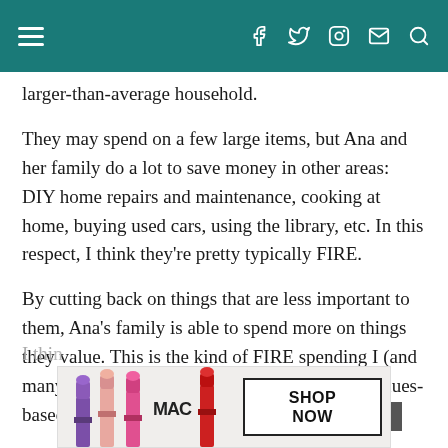Navigation header with menu icon and social icons (Facebook, Twitter, Instagram, Email, Search)
larger-than-average household.
They may spend on a few large items, but Ana and her family do a lot to save money in other areas: DIY home repairs and maintenance, cooking at home, buying used cars, using the library, etc. In this respect, I think they're pretty typically FIRE.
By cutting back on things that are less important to them, Ana's family is able to spend more on things they value. This is the kind of FIRE spending I (and many in the FIRE community) advocate : it's values-based, intentional and deprivation-free.
[Figure (photo): MAC cosmetics advertisement banner showing lipsticks in purple, pink, and red colors with 'SHOP NOW' button]
I thin